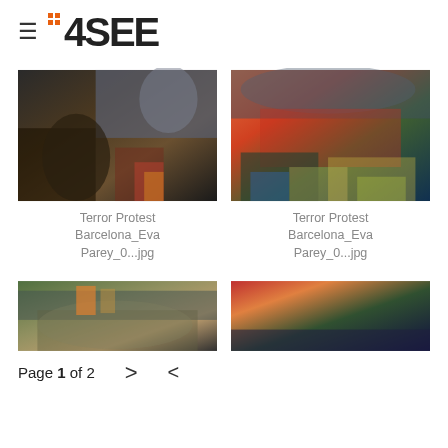≡ 4SEE
[Figure (photo): Crowd protest photo with people holding red flowers, police officer with checkered hat in background, Barcelona street scene]
Terror Protest Barcelona_Eva Parey_0...jpg
[Figure (photo): Aerial view of floral tributes, candles, flowers and signs left at memorial site with police officer visible, Barcelona]
Terror Protest Barcelona_Eva Parey_0...jpg
[Figure (photo): Wide crowd protest scene with Catalan flags visible, Barcelona plaza]
[Figure (photo): Aerial view of large crowd with flowers, candles and tributes filling a plaza, colorful scene from above, Barcelona]
Page 1 of 2  >  <